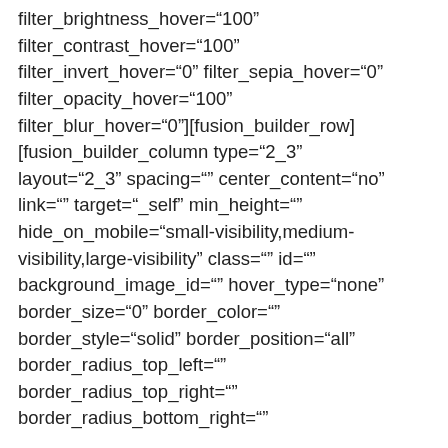filter_brightness_hover="100" filter_contrast_hover="100" filter_invert_hover="0" filter_sepia_hover="0" filter_opacity_hover="100" filter_blur_hover="0"][fusion_builder_row] [fusion_builder_column type="2_3" layout="2_3" spacing="" center_content="no" link="" target="_self" min_height="" hide_on_mobile="small-visibility,medium-visibility,large-visibility" class="" id="" background_image_id="" hover_type="none" border_size="0" border_color="" border_style="solid" border_position="all" border_radius_top_left="" border_radius_top_right="" border_radius_bottom_right=""